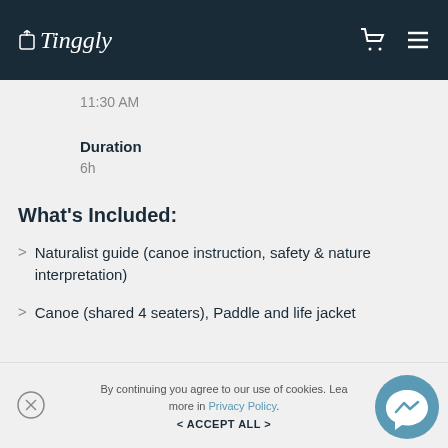Tinggly navigation bar with logo, cart icon, and menu icon
11:30 AM
Duration
6h
What's Included:
Naturalist guide (canoe instruction, safety & nature interpretation)
Canoe (shared 4 seaters), Paddle and life jacket
By continuing you agree to our use of cookies. Lea more in Privacy Policy.
< ACCEPT ALL >